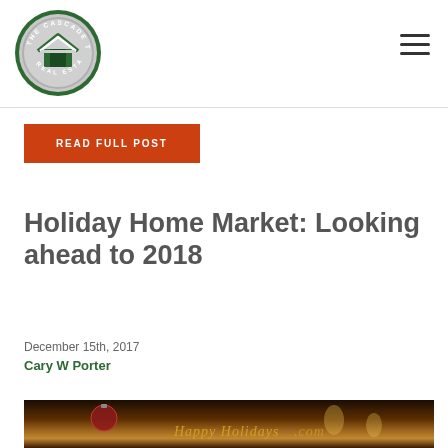The Cascade Team Real Estate logo and navigation
READ FULL POST
Holiday Home Market: Looking ahead to 2018
December 15th, 2017
Cary W Porter
[Figure (photo): Holiday photo with Christmas ornaments and candles with text 'Happy Holidays']